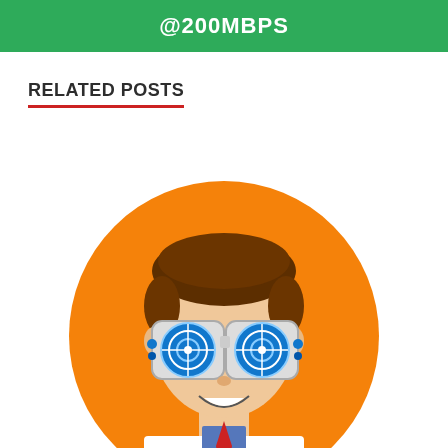@200MBPS
RELATED POSTS
[Figure (illustration): Cartoon illustration of a smiling man in a white lab coat and blue shirt with red tie, wearing large futuristic blue target/crosshair goggles, set against a large orange circle background]